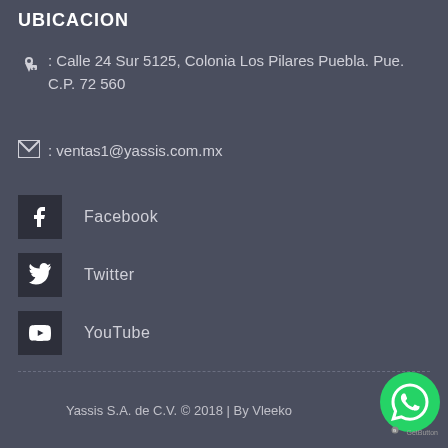UBICACION
📍 : Calle 24 Sur 5125, Colonia Los Pilares Puebla. Pue. C.P. 72560
✉ : ventas1@yassis.com.mx
Facebook
Twitter
YouTube
Yassis S.A. de C.V. © 2018 | By Vleeko